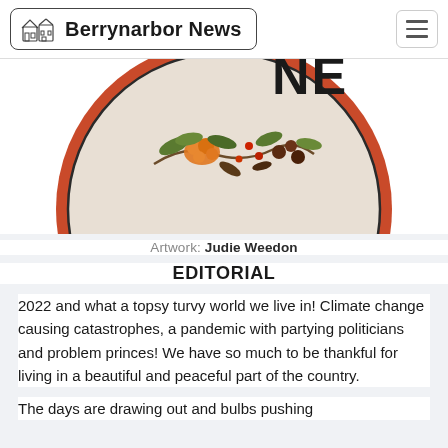Berrynarbor News
[Figure (illustration): Partially visible circular logo/badge with red border and floral artwork (berries, leaves, fruits) on a beige background. Letters 'NE' visible in upper right.]
Artwork: Judie Weedon
EDITORIAL
2022 and what a topsy turvy world we live in! Climate change causing catastrophes, a pandemic with partying politicians and problem princes! We have so much to be thankful for living in a beautiful and peaceful part of the country.
The days are drawing out and bulbs pushing